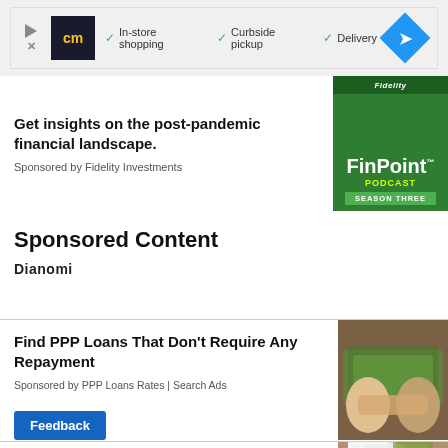[Figure (other): Top ad banner with CM logo, checkmarks for In-store shopping, Curbside pickup, Delivery, and a blue navigation diamond icon]
Get insights on the post-pandemic financial landscape.
Sponsored by Fidelity Investments
[Figure (other): Fidelity FinPoint Podcast Season Three logo on green background]
Sponsored Content
Dianomi
Find PPP Loans That Don't Require Any Repayment
Sponsored by PPP Loans Rates | Search Ads
[Figure (photo): Two people shaking hands over a pile of US dollar bills]
7 Companies That Send People Mo... They're Asked Nicely
[Figure (photo): Envelopes and money on a desk]
Feedback